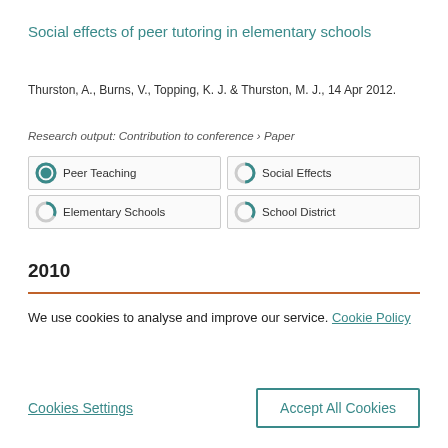Social effects of peer tutoring in elementary schools
Thurston, A., Burns, V., Topping, K. J. & Thurston, M. J., 14 Apr 2012.
Research output: Contribution to conference › Paper
Peer Teaching
Social Effects
Elementary Schools
School District
2010
We use cookies to analyse and improve our service. Cookie Policy
Cookies Settings
Accept All Cookies